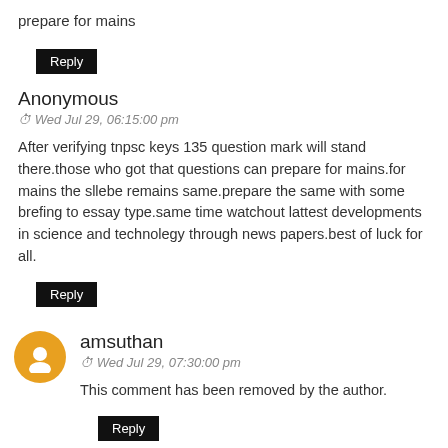prepare for mains
Reply
Anonymous
Wed Jul 29, 06:15:00 pm
After verifying tnpsc keys 135 question mark will stand there.those who got that questions can prepare for mains.for mains the sllebe remains same.prepare the same with some brefing to essay type.same time watchout lattest developments in science and technolegy through news papers.best of luck for all.
Reply
amsuthan
Wed Jul 29, 07:30:00 pm
This comment has been removed by the author.
Reply
amsuthan
Wed Jul 29, 07:33:00 pm